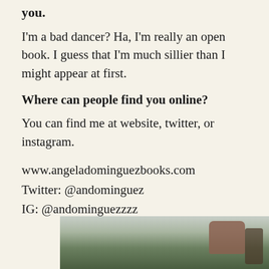you.
I'm a bad dancer? Ha, I'm really an open book. I guess that I'm much sillier than I might appear at first.
Where can people find you online?
You can find me at website, twitter, or instagram.
www.angeladominguezbooks.com
Twitter: @andominguez
IG: @andominguezzzz
[Figure (photo): Partial photo at the bottom of the page showing a person outdoors with blurred background, green and brown tones visible.]